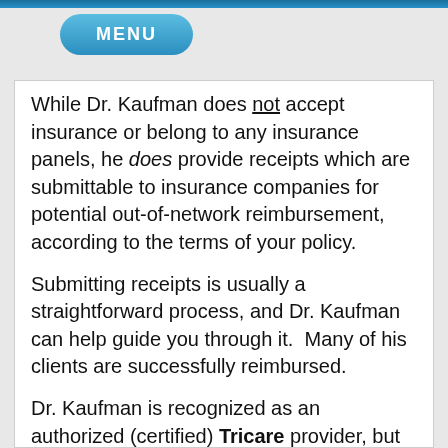[Figure (other): Blue pill-shaped MENU button]
While Dr. Kaufman does not accept insurance or belong to any insurance panels, he does provide receipts which are submittable to insurance companies for potential out-of-network reimbursement, according to the terms of your policy.
Submitting receipts is usually a straightforward process, and Dr. Kaufman can help guide you through it.  Many of his clients are successfully reimbursed.
Dr. Kaufman is recognized as an authorized (certified) Tricare provider, but is not